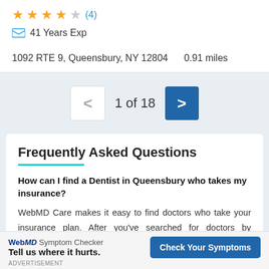[Figure (other): Star rating row: 4 filled gold stars, 1 empty star, review count (4) in blue]
41 Years Exp
1092 RTE 9, Queensbury, NY 12804    0.91 miles
1 of 18
Frequently Asked Questions
How can I find a Dentist in Queensbury who takes my insurance?
WebMD Care makes it easy to find doctors who take your insurance plan. After you've searched for doctors by specialty, click the "Insurance" option in the search filter and then
WebMD Symptom Checker
Tell us where it hurts.
Check Your Symptoms
ADVERTISEMENT